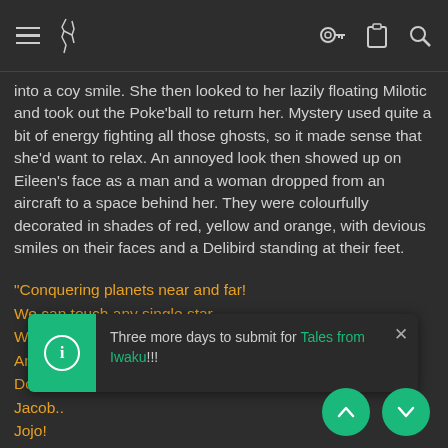Navigation bar with hamburger menu, logo, key icon, clipboard icon, search icon
into a coy smile. She then looked to her lazily floating Milotic and took out the Poke'ball to return her. Mystery used quite a bit of energy fighting all those ghosts, so it made sense that she'd want to relax. An annoyed look then showed up on Eileen's face as a man and a woman dropped from an aircraft to a space behind her. They were colourfully decorated in shades of red, yellow and orange, with devious smiles on their faces and a Delibird standing at their feet.
"Conquering planets near and far!
We can touch any single star.
We are the phantoms of the night!
And we will never lose a fight.
Dorris!
Jacob..
Jojo!
Team Virus, vowing to change the world!
F...
T... bird a... took his position at their shoulders, then clumsily fell forward with his
Three more days to submit for Tales from Iwaku!!!